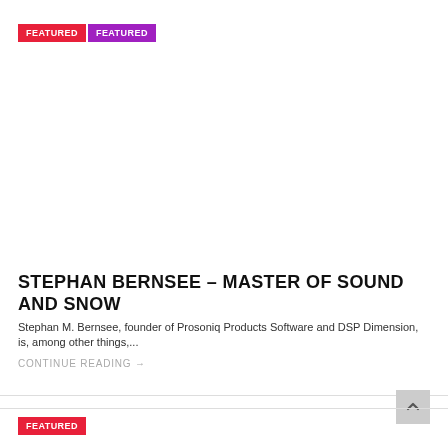FEATURED  FEATURED
STEPHAN BERNSEE – MASTER OF SOUND AND SNOW
Stephan M. Bernsee, founder of Prosoniq Products Software and DSP Dimension, is, among other things,...
CONTINUE READING →
FEATURED